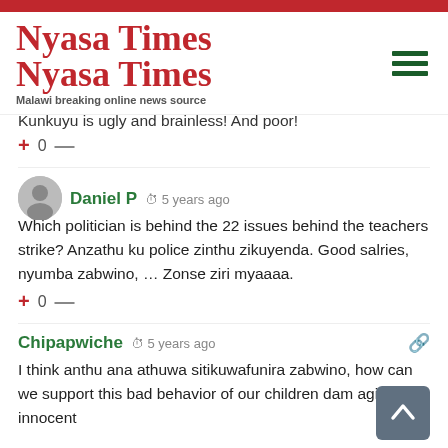Nyasa Times — Malawi breaking online news source
Kunkuyu is ugly and brainless! And poor!
+ 0 —
Daniel P  5 years ago
Which politician is behind the 22 issues behind the teachers strike? Anzathu ku police zinthu zikuyenda. Good salries, nyumba zabwino, … Zonse ziri myaaaa.
+ 0 —
Chipapwiche  5 years ago
I think anthu ana athuwa sitikuwafunira zabwino, how can we support this bad behavior of our children dam aging innocent